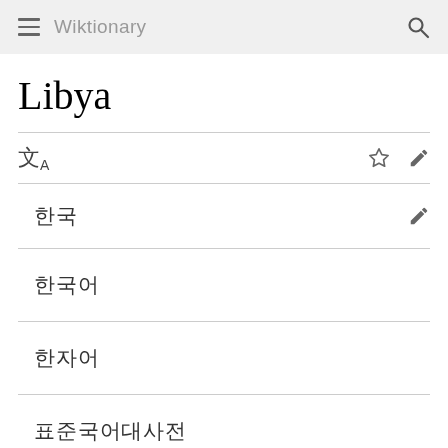Wiktionary
Libya
文A [language icon] ☆ ✏
한국 ✏
한국어
한자어
표준국어대사전